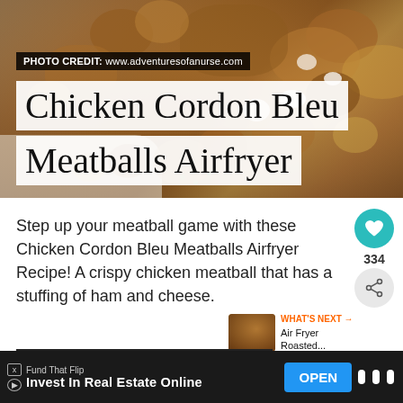[Figure (photo): Close-up photo of breaded Chicken Cordon Bleu Meatballs with crispy golden coating and white cheese stuffing visible, garnished with greens on a white plate.]
PHOTO CREDIT: www.adventuresofanurse.com
Chicken Cordon Bleu Meatballs Airfryer
Step up your meatball game with these Chicken Cordon Bleu Meatballs Airfryer Recipe! A crispy chicken meatball that has a stuffing of ham and cheese.
334
WHAT'S NEXT → Air Fryer Roasted...
Continue Reading
Fund That Flip
Invest In Real Estate Online
OPEN